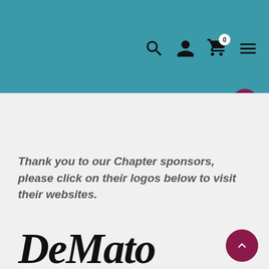Website navigation bar with search, user, cart, and menu icons
Thank you to our Chapter sponsors, please click on their logos below to visit their websites.
[Figure (logo): DeMato Productions logo — stylized script text 'DeMato' with 'PRODUCTIONS' in capital letters below, underlined in maroon]